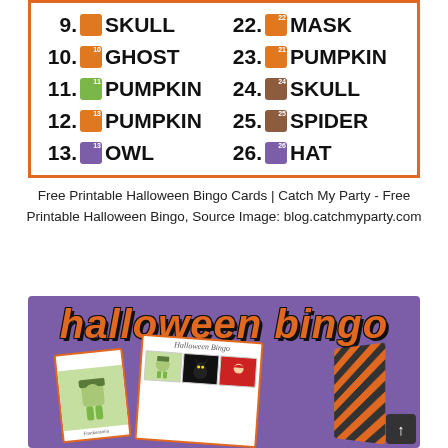[Figure (illustration): Halloween bingo word list showing items 9-13 on the left and 22-26 on the right, each with a numbered orange/colored icon and the item name in large bold text. Items: 9 SKULL, 10 GHOST, 11 PUMPKIN, 12 PUMPKIN, 13 OWL, 22 MASK, 23 PUMPKIN, 24 SKULL, 25 SPIDER, 26 HAT. Orange border around the whole list.]
Free Printable Halloween Bingo Cards | Catch My Party - Free Printable Halloween Bingo, Source Image: blog.catchmyparty.com
[Figure (illustration): Purple background Halloween Bingo promotional image with large orange italic bold text reading HALLOWEEN BINGO at the top. Below are two bingo cards shown at angles: one smaller card on the left showing a Frankenstein character, and a larger card on the right with header 'Halloween Bingo' showing a grid with a Frankenstein, black cat, and Red Riding Hood illustration. A striped orange and black banner is visible on the right side. A small dark scroll-to-top button with an up arrow is in the bottom right corner.]